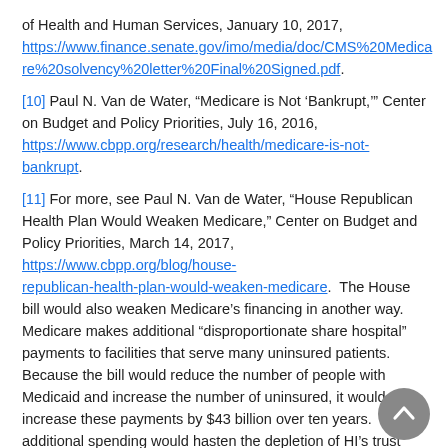of Health and Human Services, January 10, 2017, https://www.finance.senate.gov/imo/media/doc/CMS%20Medicare%20solvency%20letter%20Final%20Signed.pdf.
[10] Paul N. Van de Water, “Medicare is Not ‘Bankrupt,’” Center on Budget and Policy Priorities, July 16, 2016, https://www.cbpp.org/research/health/medicare-is-not-bankrupt.
[11] For more, see Paul N. Van de Water, “House Republican Health Plan Would Weaken Medicare,” Center on Budget and Policy Priorities, March 14, 2017, https://www.cbpp.org/blog/house-republican-health-plan-would-weaken-medicare. The House bill would also weaken Medicare’s financing in another way. Medicare makes additional “disproportionate share hospital” payments to facilities that serve many uninsured patients. Because the bill would reduce the number of people with Medicaid and increase the number of uninsured, it would increase these payments by $43 billion over ten years. This additional spending would hasten the depletion of HI’s trust fund by another year or so.
[12] TPC Table T16-0303.